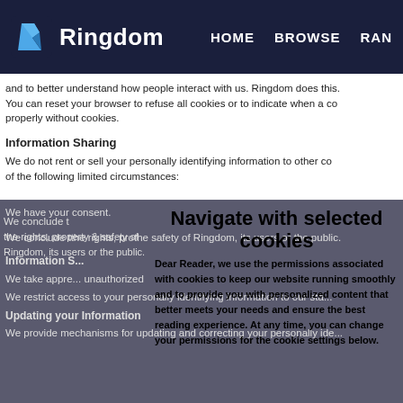Ringdom | HOME | BROWSE | RAN...
and to better understand how people interact with us. Ringdom does this. You can reset your browser to refuse all cookies or to indicate when a co properly without cookies.
Information Sharing
We do not rent or sell your personally identifying information to other co of the following limited circumstances:
We have your consent.
We conclude t[Navigate with selected good faith belief that the rights, pro[cookies safety of Ringdom, its users or the public.
Information S...
We take appre... unauthorized...
We restrict access to your personally identifying information to our sta...
Updating your Information
We provide mechanisms for updating and correcting your personally ide...
Navigate with selected cookies

Dear Reader, we use the permissions associated with cookies to keep our website running smoothly and to provide you with personalized content that better meets your needs and ensure the best reading experience. At any time, you can change your permissions for the cookie settings below.